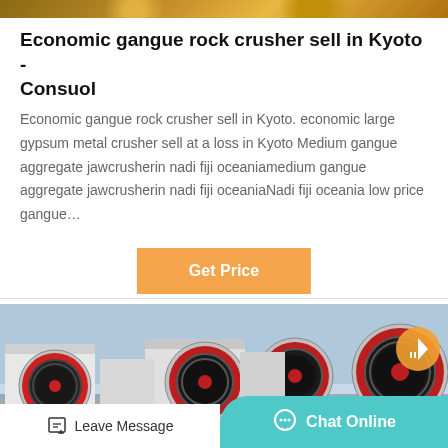[Figure (photo): Top strip image of industrial machinery with golden/amber tones]
Economic gangue rock crusher sell in Kyoto - Consuol
Economic gangue rock crusher sell in Kyoto. economic large gypsum metal crusher sell at a loss in Kyoto Medium gangue aggregate jawcrusherin nadi fiji oceaniamedium gangue aggregate jawcrusherin nadi fiji oceaniaNadi fiji oceania low price gangue…
[Figure (other): Orange/amber 'Get Price' button]
[Figure (photo): Industrial jaw crusher machines with red and black flywheels in a factory setting]
Leave Message
Chat Online